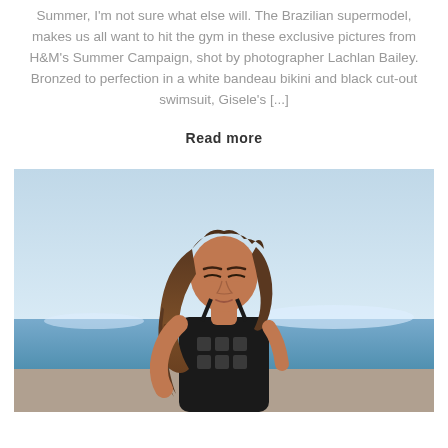Summer, I'm not sure what else will. The Brazilian supermodel, makes us all want to hit the gym in these exclusive pictures from H&M's Summer Campaign, shot by photographer Lachlan Bailey. Bronzed to perfection in a white bandeau bikini and black cut-out swimsuit, Gisele's [...]
Read more
[Figure (photo): A young woman with long wavy brown hair wearing a black cut-out swimsuit, photographed outdoors with a light blue sky and water in the background. H&M Summer Campaign photo.]